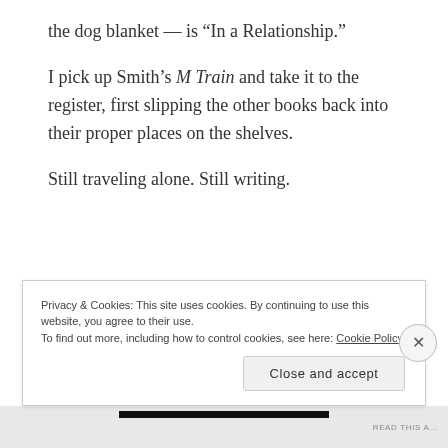the dog blanket — is “In a Relationship.”
I pick up Smith’s M Train and take it to the register, first slipping the other books back into their proper places on the shelves.
Still traveling alone. Still writing.
Privacy & Cookies: This site uses cookies. By continuing to use this website, you agree to their use.
To find out more, including how to control cookies, see here: Cookie Policy
Close and accept